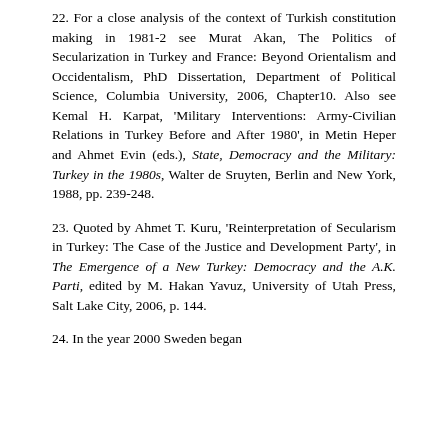22. For a close analysis of the context of Turkish constitution making in 1981-2 see Murat Akan, The Politics of Secularization in Turkey and France: Beyond Orientalism and Occidentalism, PhD Dissertation, Department of Political Science, Columbia University, 2006, Chapter10. Also see Kemal H. Karpat, 'Military Interventions: Army-Civilian Relations in Turkey Before and After 1980', in Metin Heper and Ahmet Evin (eds.), State, Democracy and the Military: Turkey in the 1980s, Walter de Sruyten, Berlin and New York, 1988, pp. 239-248.
23. Quoted by Ahmet T. Kuru, 'Reinterpretation of Secularism in Turkey: The Case of the Justice and Development Party', in The Emergence of a New Turkey: Democracy and the A.K. Parti, edited by M. Hakan Yavuz, University of Utah Press, Salt Lake City, 2006, p. 144.
24. In the year 2000 Sweden began